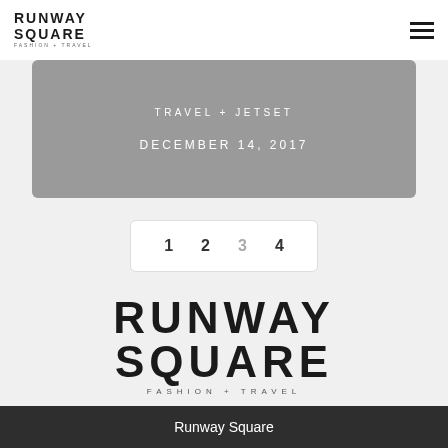[Figure (logo): Runway Square Fashion + Travel small logo in top-left header]
[Figure (other): Hamburger menu icon (three horizontal lines) in top-right header]
TRAVEL + JETSET
DECEMBER 14, 2017
1  2  3  4
[Figure (logo): Runway Square Fashion + Travel large logo centered on page body]
Runway Square